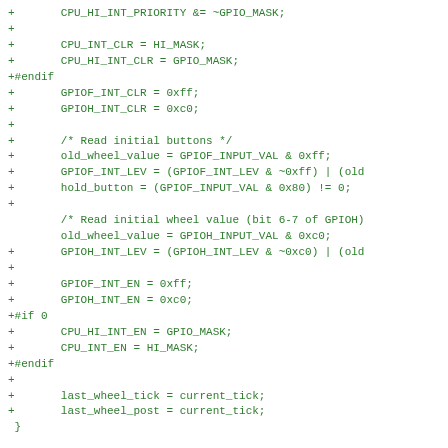Code diff showing GPIO interrupt initialization in C, including CPU_HI_INT_PRIORITY, CPU_INT_CLR, GPIOF/GPIOH interrupt setup, wheel value reading, and button_hold function definition.